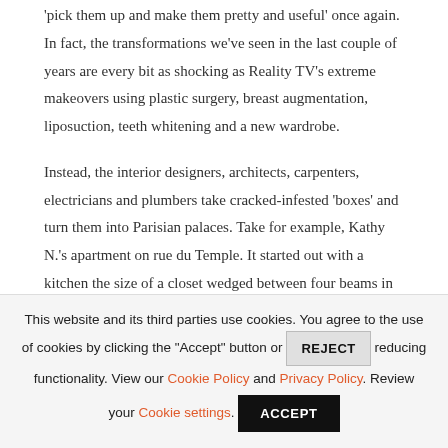'pick them up and make them pretty and useful' once again. In fact, the transformations we've seen in the last couple of years are every bit as shocking as Reality TV's extreme makeovers using plastic surgery, breast augmentation, liposuction, teeth whitening and a new wardrobe.
Instead, the interior designers, architects, carpenters, electricians and plumbers take cracked-infested 'boxes' and turn them into Parisian palaces. Take for example, Kathy N.'s apartment on rue du Temple. It started out with a kitchen the size of a closet wedged between four beams in the center of the
This website and its third parties use cookies. You agree to the use of cookies by clicking the "Accept" button or REJECT reducing functionality. View our Cookie Policy and Privacy Policy. Review your Cookie settings. ACCEPT